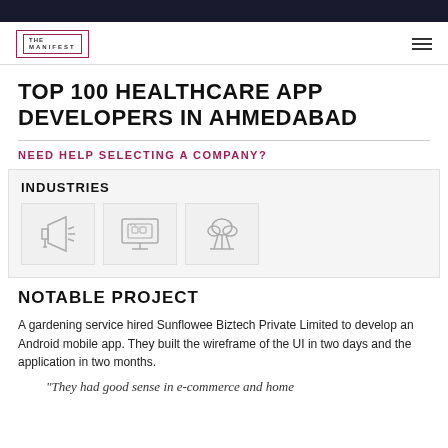THE MANIFEST
TOP 100 HEALTHCARE APP DEVELOPERS IN AHMEDABAD
NEED HELP SELECTING A COMPANY?
INDUSTRIES
[Figure (illustration): Three industry icons: megaphone/advertising, e-commerce shopping cart on monitor, cloud/tree technology]
NOTABLE PROJECT
A gardening service hired Sunflowee Biztech Private Limited to develop an Android mobile app. They built the wireframe of the UI in two days and the application in two months.
"They had good sense in e-commerce and home